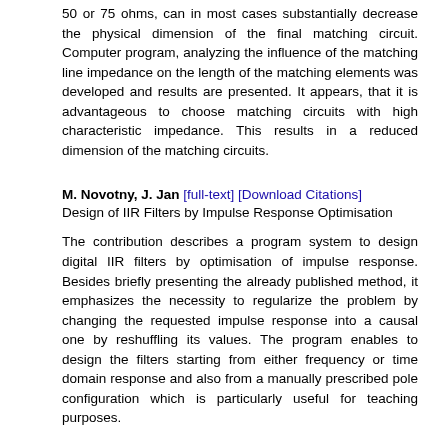50 or 75 ohms, can in most cases substantially decrease the physical dimension of the final matching circuit. Computer program, analyzing the influence of the matching line impedance on the length of the matching elements was developed and results are presented. It appears, that it is advantageous to choose matching circuits with high characteristic impedance. This results in a reduced dimension of the matching circuits.
M. Novotny, J. Jan [full-text] [Download Citations]
Design of IIR Filters by Impulse Response Optimisation
The contribution describes a program system to design digital IIR filters by optimisation of impulse response. Besides briefly presenting the already published method, it emphasizes the necessity to regularize the problem by changing the requested impulse response into a causal one by reshuffling its values. The program enables to design the filters starting from either frequency or time domain response and also from a manually prescribed pole configuration which is particularly useful for teaching purposes.
M. Kofronova [full-text] [Download Citations]
Preliminary Results of Ocular Artefacts Identification in EEC Series by Neural Network
The human electroencephalogram (EEG), is record of the electrical activity of the brain and contains useful diagnostic information on a variety of neurological disorders. Normal EEG signal are usually